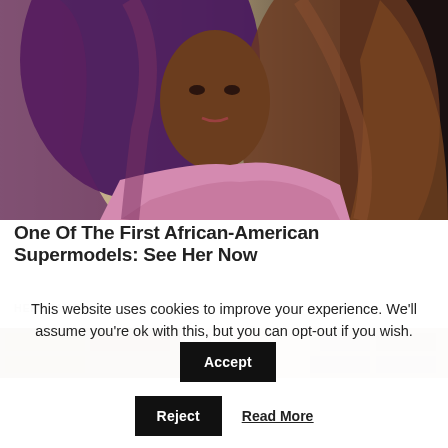[Figure (photo): A woman with long purple-to-blonde ombre hair wearing a pink knit top, photographed at a fashion event.]
One Of The First African-American Supermodels: See Her Now
HERBEAUTY
[Figure (photo): Partial view of a second article image showing wooden and striped elements.]
This website uses cookies to improve your experience. We'll assume you're ok with this, but you can opt-out if you wish.
Accept
Reject
Read More